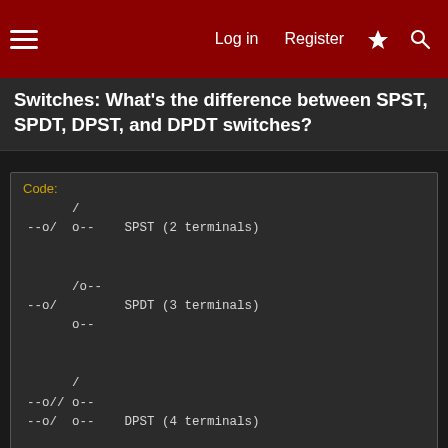Log in  Register
Switches: What's the difference between SPST, SPDT, DPST, and DPDT switches?
Code:
      /
--o/  o--    SPST (2 terminals)

      /o--
--o/         SPDT (3 terminals)
      o--

      /
--o// o--
--o/  o--    DPST (4 terminals)

      /o--
--o//o--
--o/         DPDT (6 terminals)
      o--